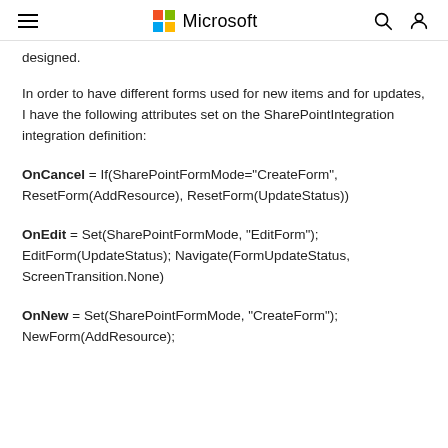Microsoft
designed.
In order to have different forms used for new items and for updates, I have the following attributes set on the SharePointIntegration integration definition:
OnCancel = If(SharePointFormMode="CreateForm", ResetForm(AddResource), ResetForm(UpdateStatus))
OnEdit = Set(SharePointFormMode, "EditForm"); EditForm(UpdateStatus); Navigate(FormUpdateStatus, ScreenTransition.None)
OnNew = Set(SharePointFormMode, "CreateForm"); NewForm(AddResource);